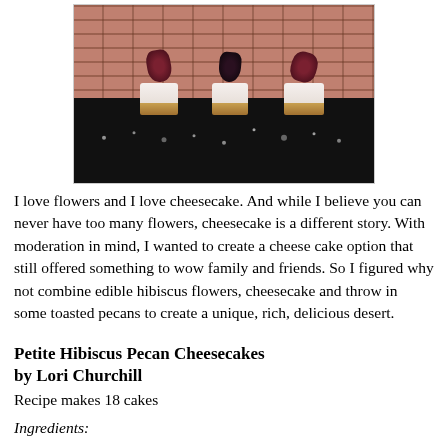[Figure (photo): Three petite hibiscus cheesecakes with dark red edible hibiscus flowers on top, white creamy filling, graham cracker crust, displayed on a dark surface against a brick background with scattered crumbs]
I love flowers and I love cheesecake. And while I believe you can never have too many flowers, cheesecake is a different story. With moderation in mind, I wanted to create a cheese cake option that still offered something to wow family and friends. So I figured why not combine edible hibiscus flowers, cheesecake and throw in some toasted pecans to create a unique, rich, delicious desert.
Petite Hibiscus Pecan Cheesecakes by Lori Churchill
Recipe makes 18 cakes
Ingredients: